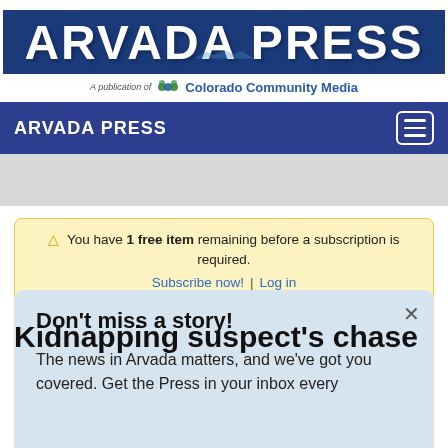[Figure (logo): Arvada Press logo — white text on dark blue background with mountain imagery]
A publication of Colorado Community Media
ARVADA PRESS
⚠ You have 1 free item remaining before a subscription is required. Subscribe now! | Log in
Kidnapping suspect's chase
Don't miss a story! The news in Arvada matters, and we've got you covered. Get the Press in your inbox every